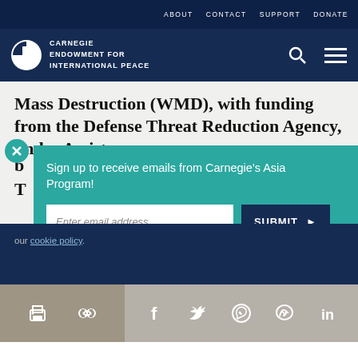ABOUT  CONTACT  SUPPORT  DONATE
[Figure (logo): Carnegie Endowment for International Peace logo with half-circle icon and text]
Mass Destruction (WMD), with funding from the Defense Threat Reduction Agency, under Assistance
Sign up to receive emails from Carnegie's Asia Program!
Enter email address
SUBMIT ▶
our cookie policy.
[Figure (infographic): Share bar with print, link, Facebook, Twitter, WhatsApp, Messenger, LinkedIn icons]